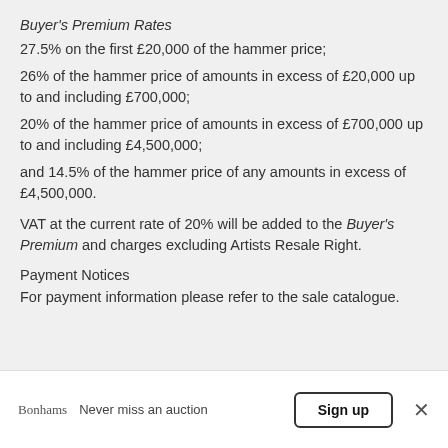Buyer's Premium Rates
27.5% on the first £20,000 of the hammer price;
26% of the hammer price of amounts in excess of £20,000 up to and including £700,000;
20% of the hammer price of amounts in excess of £700,000 up to and including £4,500,000;
and 14.5% of the hammer price of any amounts in excess of £4,500,000.
VAT at the current rate of 20% will be added to the Buyer's Premium and charges excluding Artists Resale Right.
Payment Notices
For payment information please refer to the sale catalogue.
Bonhams   Never miss an auction   Sign up   ×